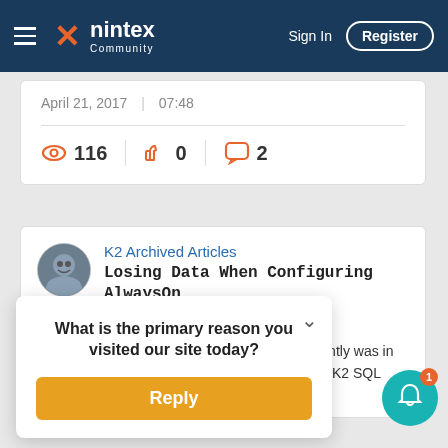nintex Community | Sign In | Register
April 21, 2017  |  07:48
116 views  0 likes  2 comments
K2 Archived Articles
Losing Data When Configuring AlwaysOn Automatic Fa...
One of the questions that has been posed recently was in regards to setting up AlwaysOn Failover for the K2 SQL Server. Documentation for this p
What is the primary reason you visited our site today?
Reply